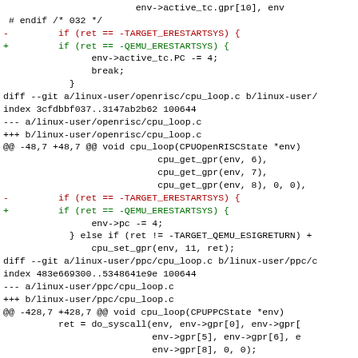Code diff showing changes to cpu_loop.c files for mips, openrisc, and ppc linux-user targets, replacing TARGET_ERESTARTSYS with QEMU_ERESTARTSYS.